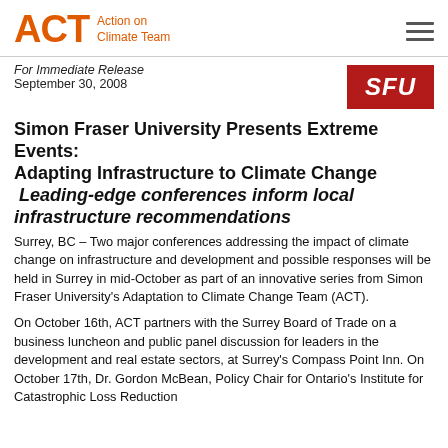ACT Action on Climate Team
For Immediate Release
September 30, 2008
[Figure (logo): SFU logo — red rectangle with white italic bold text 'SFU']
Simon Fraser University Presents Extreme Events: Adapting Infrastructure to Climate Change  Leading-edge conferences inform local infrastructure recommendations
Surrey, BC – Two major conferences addressing the impact of climate change on infrastructure and development and possible responses will be held in Surrey in mid-October as part of an innovative series from Simon Fraser University's Adaptation to Climate Change Team (ACT).
On October 16th, ACT partners with the Surrey Board of Trade on a business luncheon and public panel discussion for leaders in the development and real estate sectors, at Surrey's Compass Point Inn. On October 17th, Dr. Gordon McBean, Policy Chair for Ontario's Institute for Catastrophic Loss Reduction